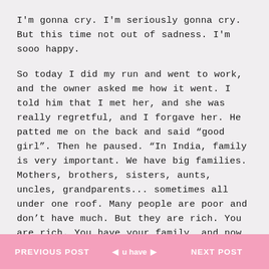I'm gonna cry.  I'm seriously gonna cry.  But this time not out of sadness.  I'm sooo happy.

So today I did my run and went to work, and the owner asked me how it went.  I told him that I met her, and she was really regretful, and I forgave her.  He patted me on the back and said "good girl".  Then he paused.  "In India, family is very important.  We have big families.  Mothers, brothers, sisters, aunts, uncles, grandparents...  sometimes all under one roof.  Many people are poor and don't have much.  But they are rich.  You are rich.  You have your family, and now your birth mother and your half sisters, and your boyfriend -" I started to protest but he smirked.  "You just
PREVIOUS POST   ◄   u have   ►   NEXT POST